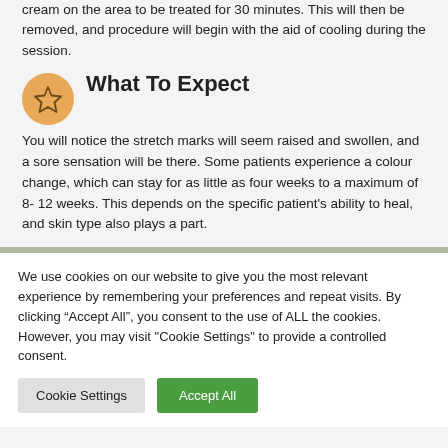cream on the area to be treated for 30 minutes. This will then be removed, and procedure will begin with the aid of cooling during the session.
What To Expect
You will notice the stretch marks will seem raised and swollen, and a sore sensation will be there. Some patients experience a colour change, which can stay for as little as four weeks to a maximum of 8- 12 weeks. This depends on the specific patient's ability to heal, and skin type also plays a part.
We use cookies on our website to give you the most relevant experience by remembering your preferences and repeat visits. By clicking “Accept All”, you consent to the use of ALL the cookies. However, you may visit "Cookie Settings" to provide a controlled consent.